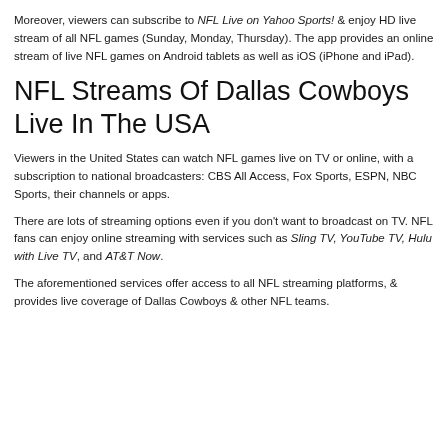Moreover, viewers can subscribe to NFL Live on Yahoo Sports! & enjoy HD live stream of all NFL games (Sunday, Monday, Thursday). The app provides an online stream of live NFL games on Android tablets as well as iOS (iPhone and iPad).
NFL Streams Of Dallas Cowboys Live In The USA
Viewers in the United States can watch NFL games live on TV or online, with a subscription to national broadcasters: CBS All Access, Fox Sports, ESPN, NBC Sports, their channels or apps.
There are lots of streaming options even if you don't want to broadcast on TV. NFL fans can enjoy online streaming with services such as Sling TV, YouTube TV, Hulu with Live TV, and AT&T Now.
The aforementioned services offer access to all NFL streaming platforms, & provides live coverage of Dallas Cowboys & other NFL teams.